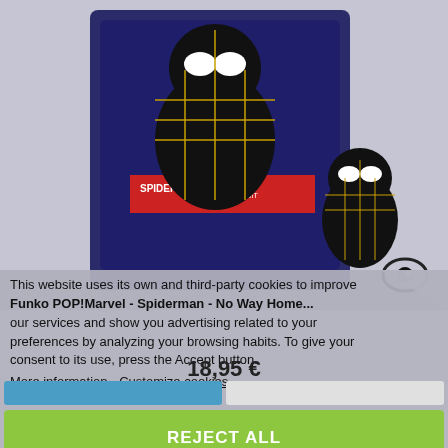[Figure (photo): Funko POP! Marvel Spider-Man No Way Home black and gold suit figure with box packaging shown against a light grey/lavender background. The box has a red label reading SPIDER-MAN BLACK & GOLD SUIT.]
This website uses its own and third-party cookies to improve our services and show you advertising related to your preferences by analyzing your browsing habits. To give your consent to its use, press the Accept button.
Funko POP!Marvel - Spiderman - No Way Home...
18,95 €
More information  Customize cookies
REJECT ALL
I ACCEPT